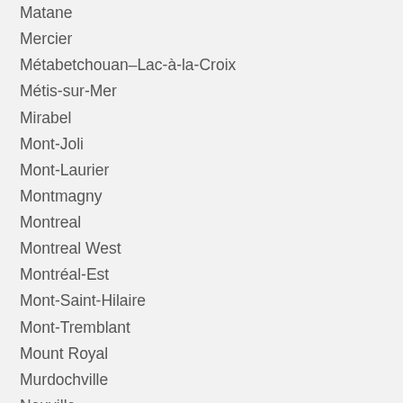Matane
Mercier
Métabetchouan–Lac-à-la-Croix
Métis-sur-Mer
Mirabel
Mont-Joli
Mont-Laurier
Montmagny
Montreal
Montreal West
Montréal-Est
Mont-Saint-Hilaire
Mont-Tremblant
Mount Royal
Murdochville
Neuville
New Richmond
Nicolet
Normandin
Notre-Dame-de-l'Île-Perrot
Notre-Dame-des-Prairies